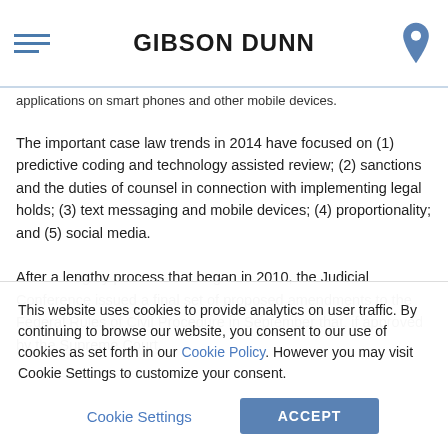GIBSON DUNN
applications on smart phones and other mobile devices.
The important case law trends in 2014 have focused on (1) predictive coding and technology assisted review; (2) sanctions and the duties of counsel in connection with implementing legal holds; (3) text messaging and mobile devices; (4) proportionality; and (5) social media.
After a lengthy process that began in 2010, the Judicial Conference issued a final set of proposed amendments to the Federal Rules of Civil Procedure in September that, if approved by the Supreme Court,
This website uses cookies to provide analytics on user traffic. By continuing to browse our website, you consent to our use of cookies as set forth in our Cookie Policy. However you may visit Cookie Settings to customize your consent.
Cookie Settings
ACCEPT